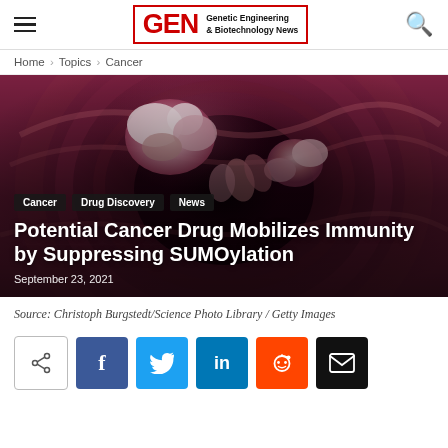GEN — Genetic Engineering & Biotechnology News
Home › Topics › Cancer
[Figure (photo): Close-up medical illustration of colorectal polyps inside a dark pink/red colon tunnel, with irregular white and pink growths visible against a dark background. Tags overlaid: Cancer, Drug Discovery, News. Title: Potential Cancer Drug Mobilizes Immunity by Suppressing SUMOylation. Date: September 23, 2021.]
Source: Christoph Burgstedt/Science Photo Library / Getty Images
Share buttons: share, Facebook, Twitter, LinkedIn, Reddit, Email